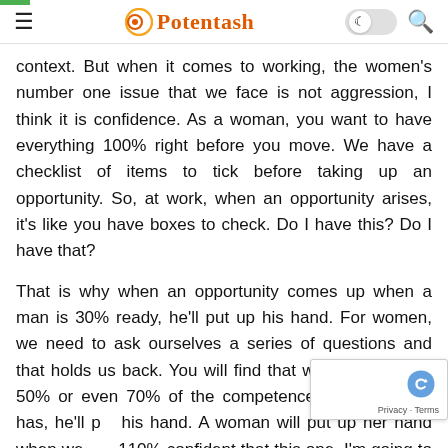Potentash
context. But when it comes to working, the women's number one issue that we face is not aggression, I think it is confidence. As a woman, you want to have everything 100% right before you move. We have a checklist of items to tick before taking up an opportunity. So, at work, when an opportunity arises, it's like you have boxes to check. Do I have this? Do I have that?
That is why when an opportunity comes up when a man is 30% ready, he'll put up his hand. For women, we need to ask ourselves a series of questions and that holds us back. You will find that when a man has 50% or even 70% of the competence that a woman has, he'll put his hand. A woman will put up her hand when we are 110% confident that this one, I'm going to ace it. But